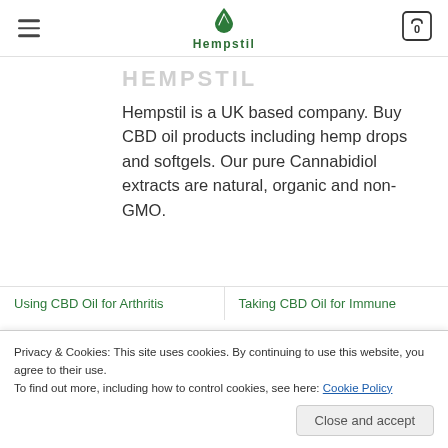Hempstil — navigation header with logo and cart
HEMPSTIL
Hempstil is a UK based company. Buy CBD oil products including hemp drops and softgels. Our pure Cannabidiol extracts are natural, organic and non-GMO.
Using CBD Oil for Arthritis
Taking CBD Oil for Immune
Privacy & Cookies: This site uses cookies. By continuing to use this website, you agree to their use.
To find out more, including how to control cookies, see here: Cookie Policy
Close and accept